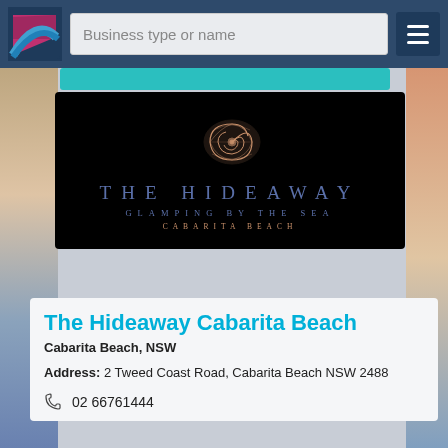Business type or name
[Figure (logo): The Hideaway Glamping by the Sea, Cabarita Beach — logo on black background with nautilus shell graphic]
The Hideaway Cabarita Beach
Cabarita Beach, NSW
Address: 2 Tweed Coast Road, Cabarita Beach NSW 2488
02 66761444